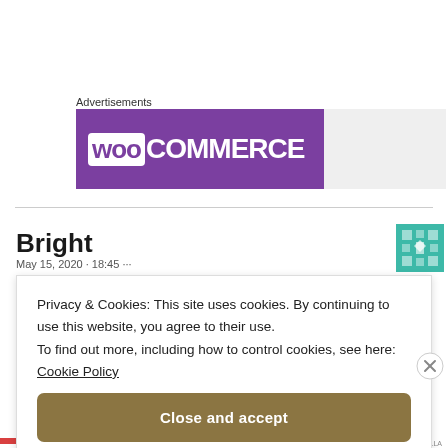Advertisements
[Figure (logo): WooCommerce advertisement banner with purple background showing WooCommerce logo in white, and a gray placeholder section to the right]
Bright
Privacy & Cookies: This site uses cookies. By continuing to use this website, you agree to their use.
To find out more, including how to control cookies, see here:
Cookie Policy
Close and accept